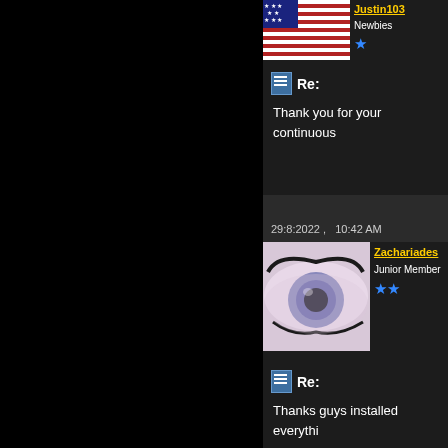[Figure (photo): User avatar showing American flag for user justin103]
justin103
Newbies
Re:
Thank you for your continuous
29:8:2022 ,   10:42 AM
[Figure (photo): User avatar showing a close-up of a purple/grey eye for user Zachariades]
Zachariades
Junior Member
Re:
Thanks guys installed everythi